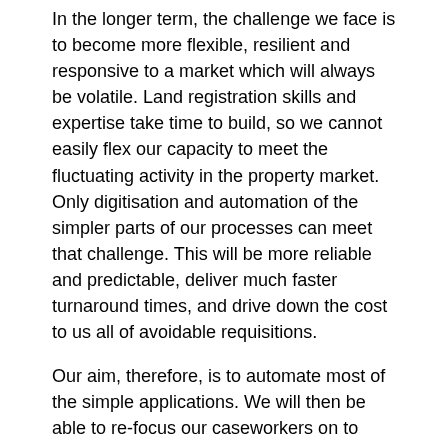In the longer term, the challenge we face is to become more flexible, resilient and responsive to a market which will always be volatile. Land registration skills and expertise take time to build, so we cannot easily flex our capacity to meet the fluctuating activity in the property market. Only digitisation and automation of the simpler parts of our processes can meet that challenge. This will be more reliable and predictable, deliver much faster turnaround times, and drive down the cost to us all of avoidable requisitions.
Our aim, therefore, is to automate most of the simple applications. We will then be able to re-focus our caseworkers on to those applications that require their expert input and judgement, further bringing down service times.
Our new Digital Registration Service on the HM Land Registry portal will be complete this year. To support this, we have developed a new internal casework system, and restructured much of the Land Register to make it machine readable.
We're already seeing 30% increased efficiency from our new internal caseworker system. We have also seen a 25% reduction on simple, time-consuming errors – such as discrepancies in name – on applications submitted using the